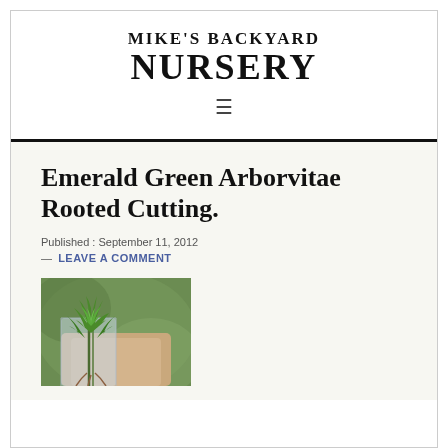MIKE'S BACKYARD NURSERY
Emerald Green Arborvitae Rooted Cutting.
Published : September 11, 2012
— LEAVE A COMMENT
[Figure (photo): Photo of an Emerald Green Arborvitae rooted cutting — green conifer foliage held in a hand against a blurred green background]